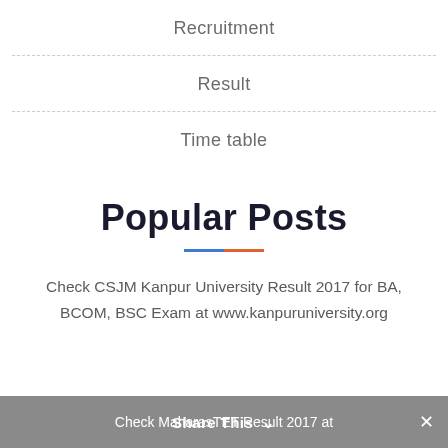Recruitment
Result
Time table
Popular Posts
Check CSJM Kanpur University Result 2017 for BA, BCOM, BSC Exam at www.kanpuruniversity.org
Share This  Check Maharashtra TET Result 2017 at